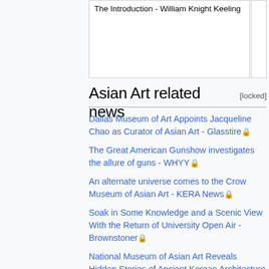The Introduction - William Knight Keeling
Asian Art related news [locked]
Dallas Museum of Art Appoints Jacqueline Chao as Curator of Asian Art - Glasstire 🔒
The Great American Gunshow investigates the allure of guns - WHYY 🔒
An alternate universe comes to the Crow Museum of Asian Art - KERA News 🔒
Soak in Some Knowledge and a Scenic View With the Return of University Open Air - Brownstoner 🔒
National Museum of Asian Art Reveals Hidden Stories of Ancient Korean Architecture in New Exhibition - City Life Org 🔒